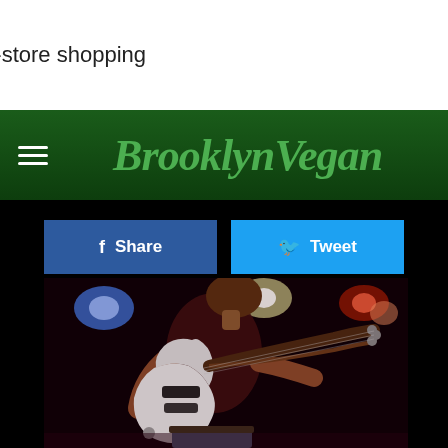[Figure (screenshot): Ad banner showing an infinity logo, checkmark, 'In-store shopping' text, and a navigation arrow icon on white background]
[Figure (logo): BrooklynVegan website logo in green stylized lettering on dark green header bar with hamburger menu icon]
[Figure (other): Facebook Share and Twitter Tweet social sharing buttons]
[Figure (photo): Concert photo of a guitarist on stage playing a white electric guitar under blue and red stage lights against a dark background]